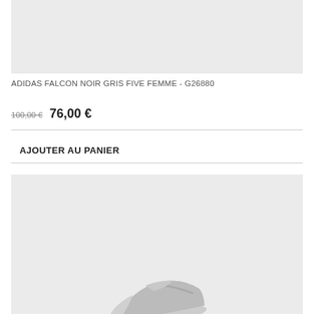[Figure (photo): Top product image area showing light grey background, product photo (mostly cropped)]
ADIDAS FALCON NOIR GRIS FIVE FEMME - G26880
100,00 €  76,00 €
AJOUTER AU PANIER
[Figure (photo): Bottom product image showing a partial view of an Adidas Falcon sneaker on a light grey background]